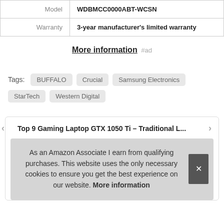|  |  |
| --- | --- |
| Model | WDBMCC0000ABT-WCSN |
| Warranty | 3-year manufacturer's limited warranty |
More information #ad
Tags: BUFFALO  Crucial  Samsung Electronics  StarTech  Western Digital
Top 9 Gaming Laptop GTX 1050 Ti – Traditional L...
As an Amazon Associate I earn from qualifying purchases. This website uses the only necessary cookies to ensure you get the best experience on our website. More information